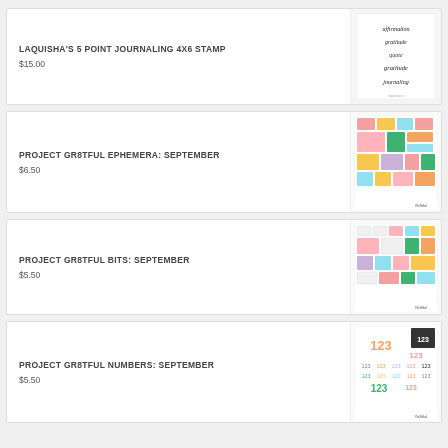LAQUISHA'S 5 POINT JOURNALING 4X6 STAMP
$15.00
[Figure (photo): Product image of Laquisha's 5 Point Journaling 4x6 Stamp showing handwritten-style text on a white background with words like affirmation, gratitude, quote, etc.]
PROJECT GR8TFUL EPHEMERA: SEPTEMBER
$6.50
[Figure (photo): Product image of Project Gr8tful Ephemera September showing colorful sticker/ephemera sheet with pink, green, orange and teal decorative elements.]
PROJECT GR8TFUL BITS: SEPTEMBER
$5.50
[Figure (photo): Product image of Project Gr8tful Bits September showing colorful sticker sheet with various sized labels and tags in pink, green, teal.]
PROJECT GR8TFUL NUMBERS: SEPTEMBER
$5.50
[Figure (photo): Product image of Project Gr8tful Numbers September showing number sticker sheet with 123 in various colors including orange, pink, teal, brown.]